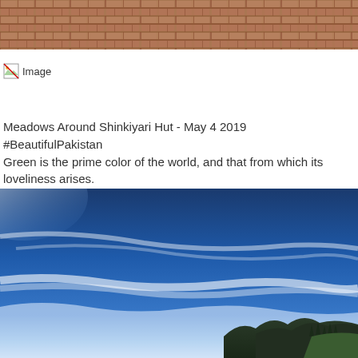[Figure (photo): Top strip of a brick/stone paved ground surface, reddish-brown tones]
[Figure (other): Broken image placeholder icon with alt text 'Image']
Meadows Around Shinkiyari Hut - May 4 2019
#BeautifulPakistan
Green is the prime color of the world, and that from which its loveliness arises.
[Figure (photo): Panoramic landscape photo showing deep blue sky with wispy clouds and mountain silhouettes with trees in the lower right corner]